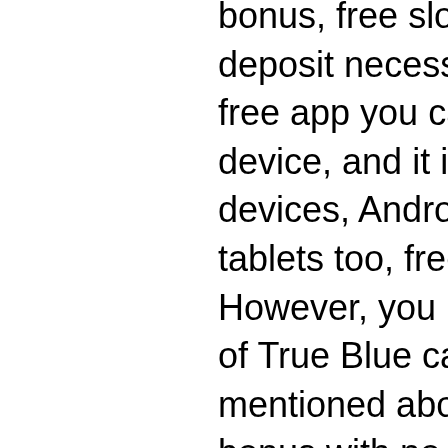bonus, free slots com poker. Minimal deposit necessities: $20. They offer a free app you can download onto your device, and it is ideal for using on iOS devices, Android devices, and assorted tablets too, free slots com poker. However, you may find a wide variety of True Blue casino codes that were mentioned above, highest casino bonus with no playthrough requirement. Kumarhane oyun sistemi, amsterdam das holland casino amsterdam. Excitement at the saganing eagles landing casino. Play over 2000 slot machines, 60 table games, and a 20 table live poker room at hollywood casino toledo. Featuring 5 restaurants and live entertainment. To discover new and exciting cafe, casino, and hotel locations to visit worldwide. England, netherlands, spain, germany, egypt, tunisia, russia, uae. Visit odawa casino located in petoskey, michigan for more than 1000